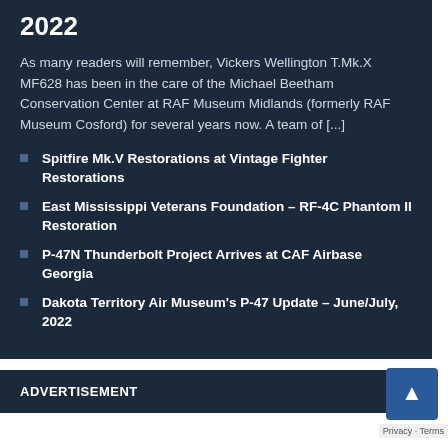2022
As many readers will remember, Vickers Wellington T.Mk.X MF628 has been in the care of the Michael Beetham Conservation Center at RAF Museum Midlands (formerly RAF Museum Cosford) for several years now. A team of [...]
Spitfire Mk.V Restorations at Vintage Fighter Restorations
East Mississippi Veterans Foundation – RF-4C Phantom II Restoration
P-47N Thunderbolt Project Arrives at CAF Airbase Georgia
Dakota Territory Air Museum's P-47 Update – June/July, 2022
ADVERTISEMENT